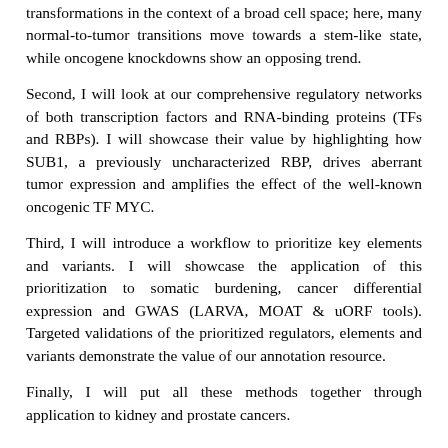transformations in the context of a broad cell space; here, many normal-to-tumor transitions move towards a stem-like state, while oncogene knockdowns show an opposing trend.
Second, I will look at our comprehensive regulatory networks of both transcription factors and RNA-binding proteins (TFs and RBPs). I will showcase their value by highlighting how SUB1, a previously uncharacterized RBP, drives aberrant tumor expression and amplifies the effect of the well-known oncogenic TF MYC.
Third, I will introduce a workflow to prioritize key elements and variants. I will showcase the application of this prioritization to somatic burdening, cancer differential expression and GWAS (LARVA, MOAT & uORF tools). Targeted validations of the prioritized regulators, elements and variants demonstrate the value of our annotation resource.
Finally, I will put all these methods together through application to kidney and prostate cancers.
==
i0lon19-bern